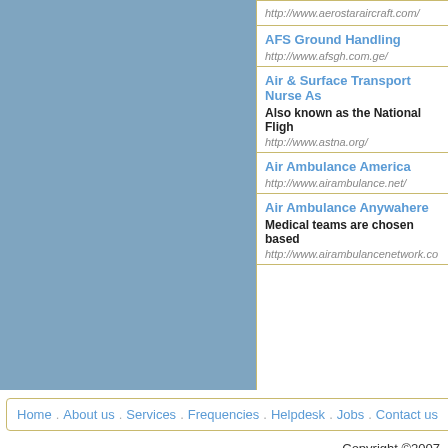http://www.aerostaraircraft.com/
AFS Ground Handling
http://www.afsgh.com.ge/
Air & Surface Transport Nurse As...
Also known as the National Fligh...
http://www.astna.org/
Air Ambulance America
http://www.airambulance.net/
Air Ambulance Anywahere
Medical teams are chosen based...
http://www.airambulancenetwork.co...
Home . About us . Services . Frequencies . Helpdesk . Jobs . Contact us
Copyright ©2007